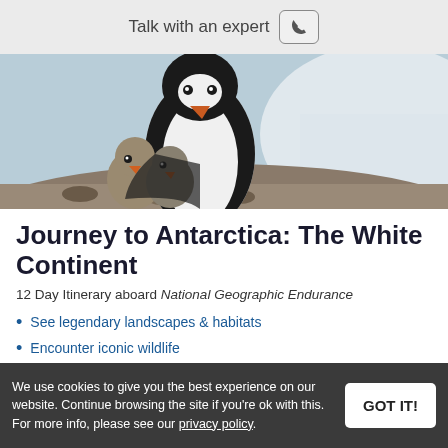Talk with an expert
[Figure (photo): Close-up photo of a penguin with two small chicks nestled against its body on rocky ground with snowy background.]
Journey to Antarctica: The White Continent
12 Day Itinerary aboard National Geographic Endurance
See legendary landscapes & habitats
Encounter iconic wildlife
Kayak, Zodiac cruise, and hike
Experience the Antarctic undersea
We use cookies to give you the best experience on our website. Continue browsing the site if you're ok with this. For more info, please see our privacy policy.